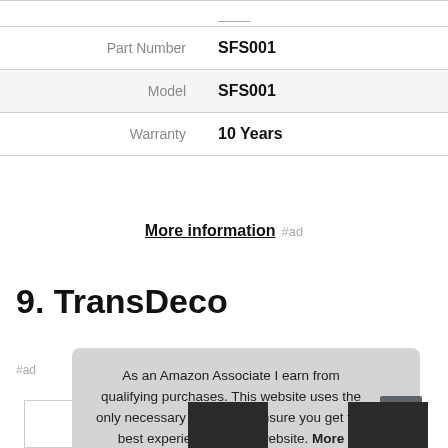| Part Number | SFS001 |
| Model | SFS001 |
| Warranty | 10 Years |
More information #ad
9. TransDeco
#ad
As an Amazon Associate I earn from qualifying purchases. This website uses the only necessary cookies to ensure you get the best experience on our website. More information